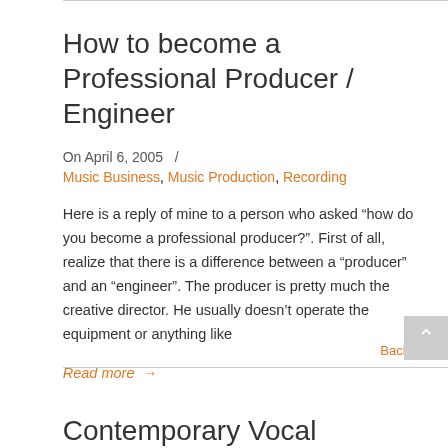How to become a Professional Producer / Engineer
On April 6, 2005  /
Music Business, Music Production, Recording
Here is a reply of mine to a person who asked “how do you become a professional producer?”. First of all, realize that there is a difference between a “producer” and an “engineer”. The producer is pretty much the creative director. He usually doesn’t operate the equipment or anything like
Read more →
Back to Top
Contemporary Vocal